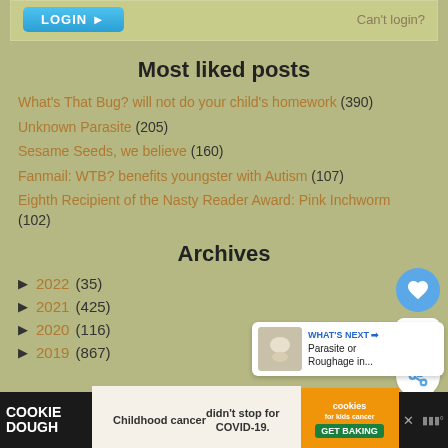Most liked posts
What's That Bug? will not do your child's homework (390)
Unknown Parasite (205)
Sesame Seeds, we believe (160)
Fanmail: WTB? benefits youngster with Autism (107)
Eighth Recipient of the Nasty Reader Award: Pink Inchworm (102)
Archives
2022 (35)
2021 (425)
2020 (116)
2019 (867)
[Figure (infographic): Advertisement banner: Cookie Dough - Childhood cancer didn't stop for COVID-19. Cookies for kids cancer - GET BAKING]
WHAT'S NEXT → Parasite or Roughage in...